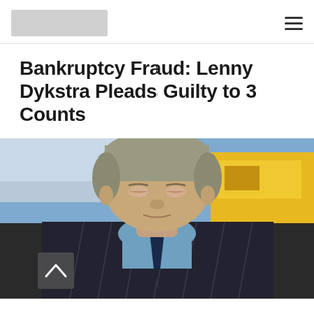[Logo placeholder] [Hamburger menu]
Bankruptcy Fraud: Lenny Dykstra Pleads Guilty to 3 Counts
[Figure (photo): Close-up photograph of a man (Lenny Dykstra) with gray-streaked hair, wearing a pinstripe suit and blue shirt, looking downward, with an ambulance and yellow school bus visible in the background. A gray scroll-up button with a caret/chevron icon is overlaid in the lower-left of the image.]